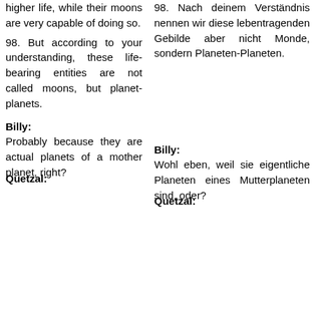higher life, while their moons are very capable of doing so.
98. But according to your understanding, these life-bearing entities are not called moons, but planet-planets.
98. Nach deinem Verständnis nennen wir diese lebentragenden Gebilde aber nicht Monde, sondern Planeten-Planeten.
Billy:
Probably because they are actual planets of a mother planet, right?
Billy:
Wohl eben, weil sie eigentliche Planeten eines Mutterplaneten sind, oder?
Quetzal:
Quetzal: